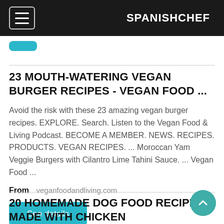SPANISHCHEF
[Figure (screenshot): Teal 'See details' button (partially visible at top)]
23 MOUTH-WATERING VEGAN BURGER RECIPES - VEGAN FOOD ...
Avoid the risk with these 23 amazing vegan burger recipes. EXPLORE. Search. Listen to the Vegan Food & Living Podcast. BECOME A MEMBER. NEWS. RECIPES. PRODUCTS. VEGAN RECIPES. ... Moroccan Yam Veggie Burgers with Cilantro Lime Tahini Sauce. ... Vegan Food ...
From   veganfoodandliving.com
See details
20 HOMEMADE DOG FOOD RECIPES MADE WITH CHICKEN